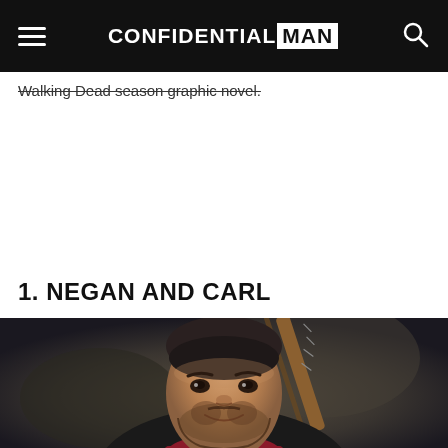CONFIDENTIAL MAN
Walking Dead season graphic novel.
1. NEGAN AND CARL
[Figure (photo): Photo of actor Jeffrey Dean Morgan as Negan from The Walking Dead, wearing a leather jacket with a red scarf, holding a barbed-wire baseball bat (Lucille) over his shoulder, smiling slightly against a dark blurred background.]